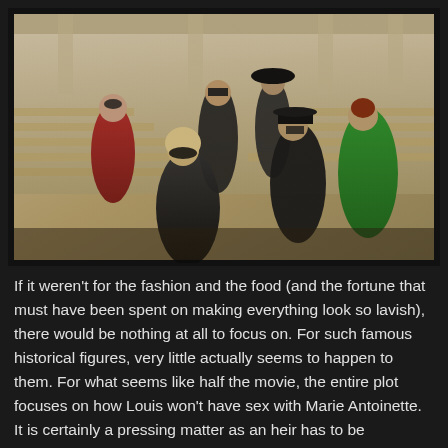[Figure (photo): Group of people in elaborate period costumes with masquerade masks, posed on ornate marble staircase. Costumes include black, red, and green period dress. Setting appears to be an opulent baroque-style interior.]
If it weren't for the fashion and the food (and the fortune that must have been spent on making everything look so lavish), there would be nothing at all to focus on. For such famous historical figures, very little actually seems to happen to them. For what seems like half the movie, the entire plot focuses on how Louis won't have sex with Marie Antoinette. It is certainly a pressing matter as an heir has to be